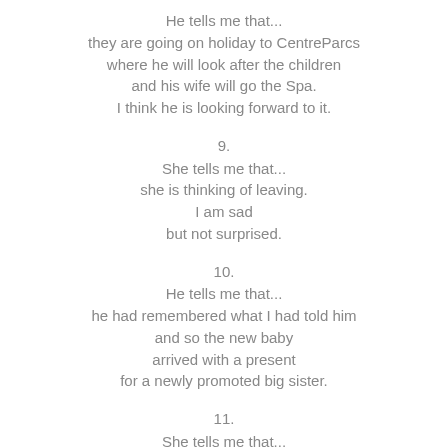He tells me that...
they are going on holiday to CentreParcs
where he will look after the children
and his wife will go the Spa.
I think he is looking forward to it.
9.
She tells me that...
she is thinking of leaving.
I am sad
but not surprised.
10.
He tells me that...
he had remembered what I had told him
and so the new baby
arrived with a present
for a newly promoted big sister.
11.
She tells me that...
her daughter got married.